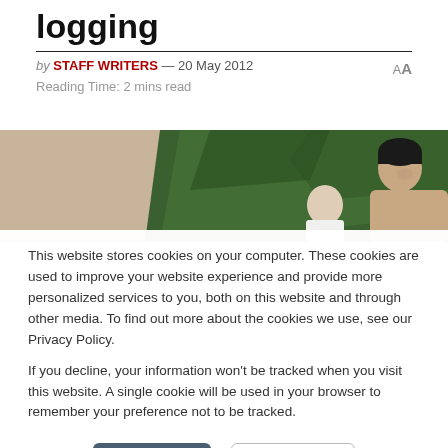logging
by STAFF WRITERS — 20 May 2012
Reading Time: 2 mins read
[Figure (photo): Partial photo of a person outdoors with green foliage in the background and a beige/tan foreground area.]
This website stores cookies on your computer. These cookies are used to improve your website experience and provide more personalized services to you, both on this website and through other media. To find out more about the cookies we use, see our Privacy Policy.

If you decline, your information won't be tracked when you visit this website. A single cookie will be used in your browser to remember your preference not to be tracked.
Accept   Decline